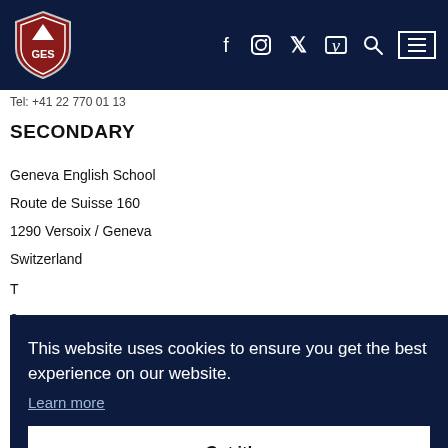[Figure (logo): GES shield logo — Geneva English School crest in red and dark navy]
f  Instagram  Twitter  Vimeo  Search  Menu (hamburger)
Tel: +41 22 770 01 13
SECONDARY
Geneva English School
Route de Suisse 160
1290 Versoix / Geneva
Switzerland
This website uses cookies to ensure you get the best experience on our website.
Learn more
Got it!